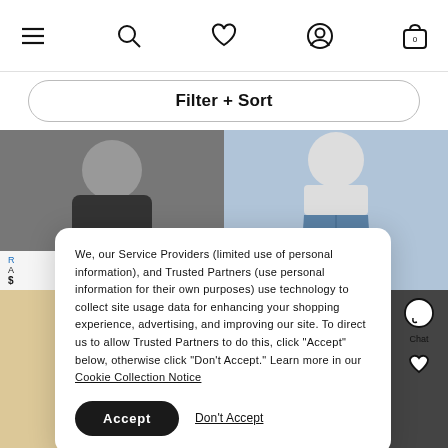Navigation bar with menu, search, wishlist, account, and cart (0) icons
Filter + Sort
[Figure (photo): Two-column product grid showing clothing items: black eyelet top and denim skirt in top row, beige outfit and black outfit partially visible in bottom row]
We, our Service Providers (limited use of personal information), and Trusted Partners (use personal information for their own purposes) use technology to collect site usage data for enhancing your shopping experience, advertising, and improving our site. To direct us to allow Trusted Partners to do this, click “Accept” below, otherwise click “Don’t Accept.” Learn more in our Cookie Collection Notice
Accept
Don't Accept
[Figure (illustration): Chat widget icon with speech bubble and Chat label, and a location/heart icon below]